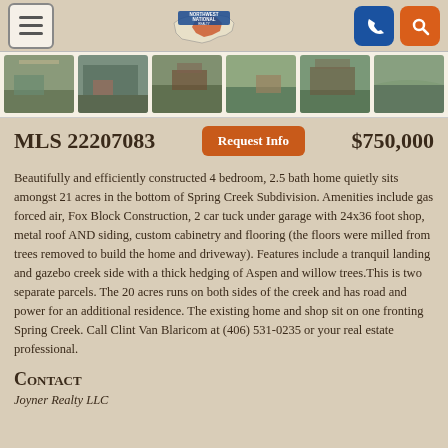[Figure (screenshot): Northwest National Realty navigation bar with hamburger menu, logo, phone and search buttons]
[Figure (photo): Strip of 6 property thumbnail photos showing aerial and ground views of home and land]
MLS 22207083    Request Info    $750,000
Beautifully and efficiently constructed 4 bedroom, 2.5 bath home quietly sits amongst 21 acres in the bottom of Spring Creek Subdivision. Amenities include gas forced air, Fox Block Construction, 2 car tuck under garage with 24x36 foot shop, metal roof AND siding, custom cabinetry and flooring (the floors were milled from trees removed to build the home and driveway). Features include a tranquil landing and gazebo creek side with a thick hedging of Aspen and willow trees.This is two separate parcels. The 20 acres runs on both sides of the creek and has road and power for an additional residence. The existing home and shop sit on one fronting Spring Creek. Call Clint Van Blaricom at (406) 531-0235 or your real estate professional.
Contact
Joyner Realty LLC